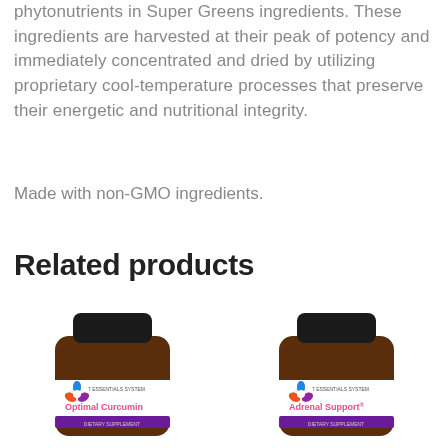phytonutrients in Super Greens ingredients. These ingredients are harvested at their peak of potency and immediately concentrated and dried by utilizing proprietary cool-temperature processes that preserve their energetic and nutritional integrity.
Made with non-GMO ingredients.
Related products
[Figure (photo): Supplement bottle labeled 'Optimal Curcumin' with a colorful flower logo and '7 Essentials System' branding, dark amber bottle with black cap]
[Figure (photo): Supplement bottle labeled 'Adrenal Support' with a colorful flower logo and '7 Essentials System' branding, dark amber bottle with black cap]